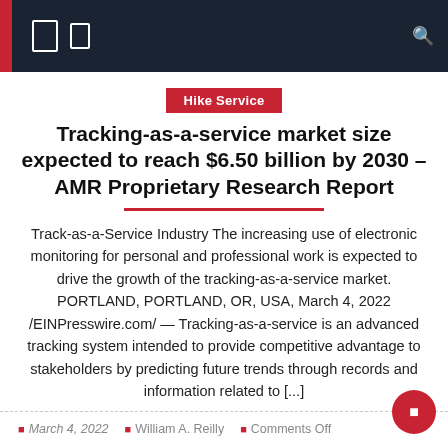Navigation bar with icons and search
Hike Service
Tracking-as-a-service market size expected to reach $6.50 billion by 2030 – AMR Proprietary Research Report
Track-as-a-Service Industry The increasing use of electronic monitoring for personal and professional work is expected to drive the growth of the tracking-as-a-service market. PORTLAND, PORTLAND, OR, USA, March 4, 2022 /EINPresswire.com/ — Tracking-as-a-service is an advanced tracking system intended to provide competitive advantage to stakeholders by predicting future trends through records and information related to [...]
March 4, 2022  William A. Reilly  Comments Off